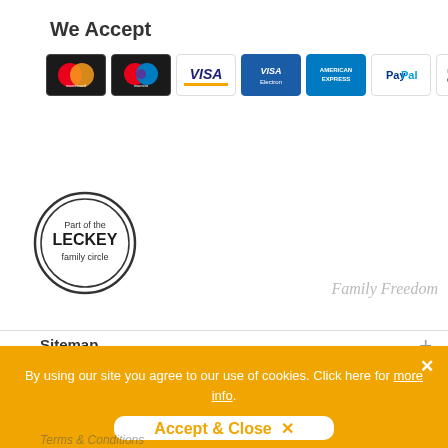We Accept
[Figure (logo): Payment method icons: Mastercard, Maestro, VISA, VISA Electron, American Express, PayPal, PayPal Credit]
[Figure (logo): Part of the LECKEY family circle - circular logo with dark border]
Family Freedom
Sitemap
By using our site you agree to our use of cookies. Click here for more info.
Accept & Close ×
Terms & Conditions